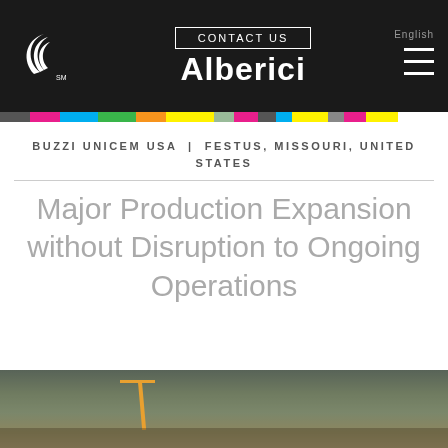CONTACT US  Alberici  English
BUZZI UNICEM USA | FESTUS, MISSOURI, UNITED STATES
Major Production Expansion without Disruption to Ongoing Operations
[Figure (photo): Aerial/ground-level construction site photo showing excavation and crane equipment at a cement production facility, outdoor setting with bare trees and equipment scattered around.]